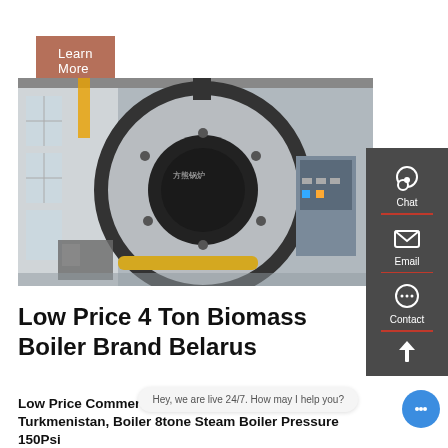Learn More
[Figure (photo): Industrial biomass steam boiler in a factory setting, large cylindrical silver and black boiler with control panel on the right]
Low Price 4 Ton Biomass Boiler Brand Belarus
Low Price Commercial 4t Biomass Steam Boiler Turkmenistan, Boiler 8tone Steam Boiler Pressure 150Psi